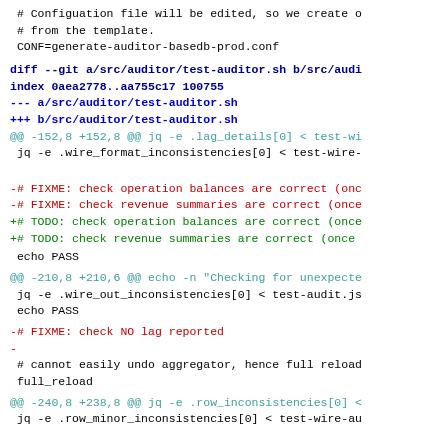# Configuation file will be edited, so we create o
 # from the template.
 CONF=generate-auditor-basedb-prod.conf
diff --git a/src/auditor/test-auditor.sh b/src/audi
index 0aea2778..aa755c17 100755
--- a/src/auditor/test-auditor.sh
+++ b/src/auditor/test-auditor.sh
@@ -152,8 +152,8 @@ jq -e .lag_details[0] < test-wi
 jq -e .wire_format_inconsistencies[0] < test-wire-
-# FIXME: check operation balances are correct (onc
-# FIXME: check revenue summaries are correct (once
+# TODO: check operation balances are correct (once
+# TODO: check revenue summaries are correct (once
echo PASS
@@ -210,8 +210,6 @@ echo -n "Checking for unexpecte
 jq -e .wire_out_inconsistencies[0] < test-audit.js
 echo PASS
-# FIXME: check NO lag reported
-
 # cannot easily undo aggregator, hence full reload
 full_reload
@@ -240,8 +238,8 @@ jq -e .row_inconsistencies[0] <
 jq -e .row_minor_inconsistencies[0] < test-wire-au